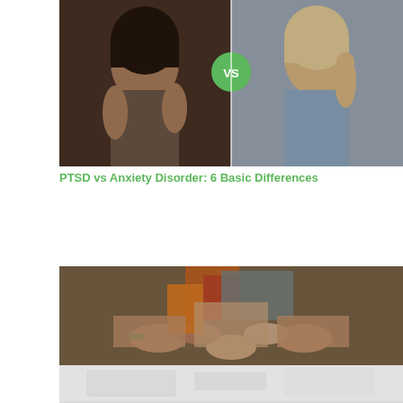[Figure (photo): Split image showing two women in distress side by side with a green 'VS' badge in the center. Left side: a dark-haired woman hugging herself looking sad. Right side: a blonde woman holding her head in her hand looking stressed.]
PTSD vs Anxiety Disorder: 6 Basic Differences
[Figure (photo): Two photos stacked: top photo shows a group of people forming a circle with hands together in a team gesture. Bottom photo shows a blurred/faded image possibly related to mental health or support.]